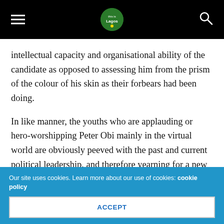This is Lagos (logo)
intellectual capacity and organisational ability of the candidate as opposed to assessing him from the prism of the colour of his skin as their forbears had been doing.
In like manner, the youths who are applauding or hero-worshipping Peter Obi mainly in the virtual world are obviously peeved with the past and current political leadership, and therefore yearning for a new beginning. One thing anyone who wants to become president in 2023 needs to do is plug into the movement and momentum already stirred up amongst our youths by making conscious and concerted efforts to bring Generation- Z out from the virtual world down to planet earth.
Our site uses cookies. Learn more about our use of cookies: cookie policy
ACCEPT